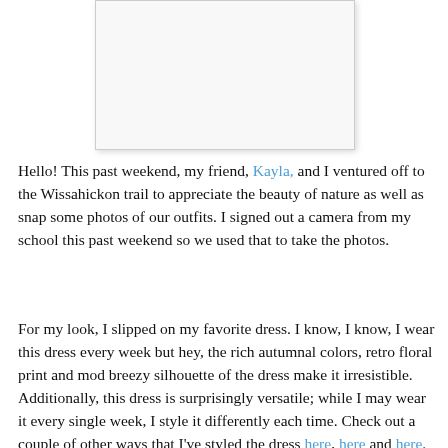[Figure (photo): A photo placeholder shown as a white/light gray rectangle with a subtle border and shadow, centered near the top of the page.]
Hello! This past weekend, my friend, Kayla, and I ventured off to the Wissahickon trail to appreciate the beauty of nature as well as snap some photos of our outfits. I signed out a camera from my school this past weekend so we used that to take the photos.
For my look, I slipped on my favorite dress. I know, I know, I wear this dress every week but hey, the rich autumnal colors, retro floral print and mod breezy silhouette of the dress make it irresistible. Additionally, this dress is surprisingly versatile; while I may wear it every single week, I style it differently each time. Check out a couple of other ways that I've styled the dress here, here and here.